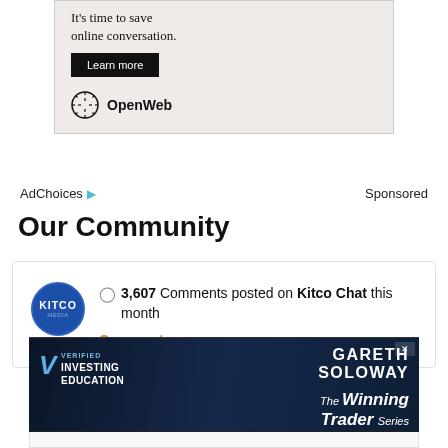[Figure (illustration): OpenWeb advertisement banner with 'It's time to save online conversation.' text, a black 'Learn more' button, and the OpenWeb logo at the bottom. Background is light beige/pink.]
AdChoices ▶  Sponsored
Our Community
💬 3,607 Comments posted on Kitco Chat this month
Comment ›
[Figure (illustration): Gareth Soloway 'Verified Investing Education' advertisement banner. Dark navy background with a photo of Gareth Soloway in a suit. Text reads: GARETH SOLOWAY, The Winning Trader Series.]
[Figure (illustration): Bottom white strip of another advertisement banner.]